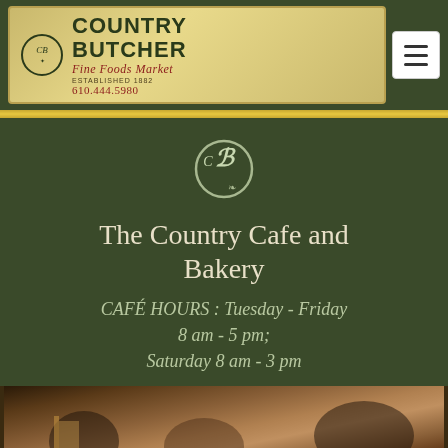[Figure (logo): Country Butcher Fine Foods Market logo banner with CB emblem, established 1882, phone 610.444.5980, and hamburger menu button]
The Country Cafe and Bakery
CAFÉ HOURS : Tuesday - Friday 8 am - 5 pm; Saturday 8 am - 3 pm
[Figure (photo): Interior photo of the Country Cafe showing patrons seated inside]
Phone   Email   Facebook